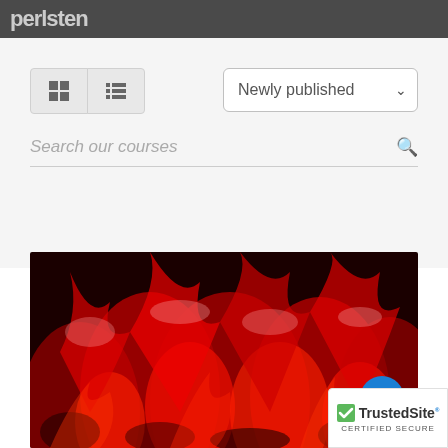perlsten
[Figure (screenshot): View toggle buttons (grid and list view) and Newly published sort dropdown]
Search our courses
[Figure (photo): Red and black swirling fire/smoke image]
[Figure (logo): TrustedSite Certified Secure badge]